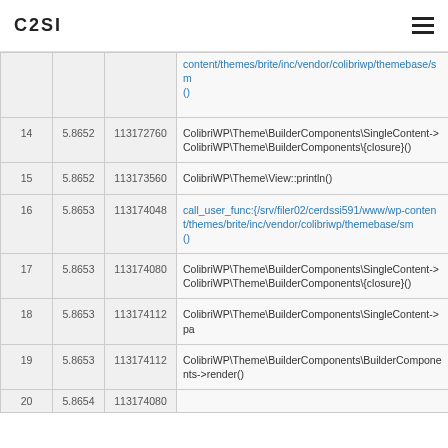C2SI
|  |  |  |  |
| --- | --- | --- | --- |
|  |  |  | content/themes/brite/inc/vendor/colibriwp/themebase/sn
() |
| 14 | 5.8652 | 113172760 | ColibriWP\Theme\BuilderComponents\SingleContent->ColibriWP\Theme\BuilderComponents\{closure}() |
| 15 | 5.8652 | 113173560 | ColibriWP\Theme\View::println() |
| 16 | 5.8653 | 113174048 | call_user_func:{/srv/filer02/cerdssi591/www/wp-content/themes/brite/inc/vendor/colibriwp/themebase/sn
() |
| 17 | 5.8653 | 113174080 | ColibriWP\Theme\BuilderComponents\SingleContent->ColibriWP\Theme\BuilderComponents\{closure}() |
| 18 | 5.8653 | 113174112 | ColibriWP\Theme\BuilderComponents\SingleContent->pa |
| 19 | 5.8653 | 113174112 | ColibriWP\Theme\BuilderComponents\BuilderComponents->render() |
| 20 | 5.8654 | 113174080 |  |